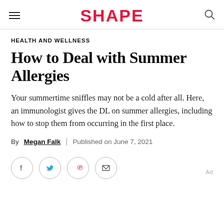SHAPE
HEALTH AND WELLNESS
How to Deal with Summer Allergies
Your summertime sniffles may not be a cold after all. Here, an immunologist gives the DL on summer allergies, including how to stop them from occurring in the first place.
By Megan Falk | Published on June 7, 2021